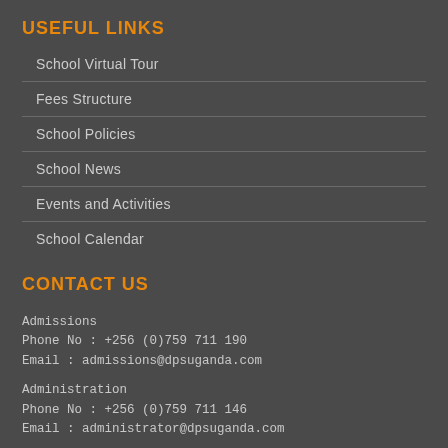USEFUL LINKS
School Virtual Tour
Fees Structure
School Policies
School News
Events and Activities
School Calendar
CONTACT US
Admissions
Phone No : +256 (0)759 711 190
Email : admissions@dpsuganda.com
Administration
Phone No : +256 (0)759 711 146
Email : administrator@dpsuganda.com
Principal
Phone No : +256 (0)759 711 126
Email : principalacademics@dpsuganda.com